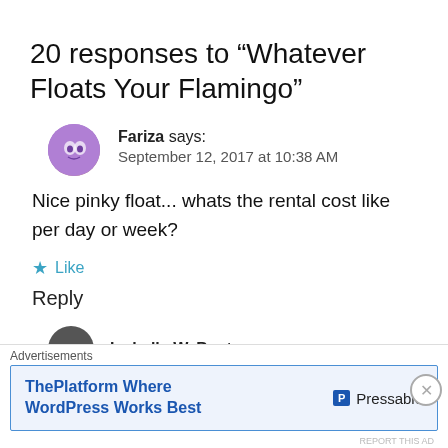20 responses to “Whatever Floats Your Flamingo”
Fariza says:
September 12, 2017 at 10:38 AM
Nice pinky float... whats the rental cost like per day or week?
Like
Reply
Isabelle W. Bosta says:
Advertisements
ThePlatform Where WordPress Works Best
Pressable